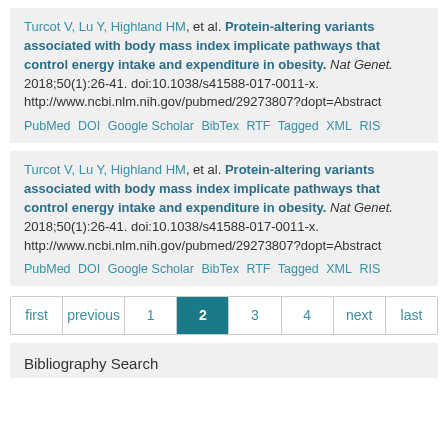Turcot V, Lu Y, Highland HM, et al. Protein-altering variants associated with body mass index implicate pathways that control energy intake and expenditure in obesity. Nat Genet. 2018;50(1):26-41. doi:10.1038/s41588-017-0011-x. http://www.ncbi.nlm.nih.gov/pubmed/29273807?dopt=Abstract
PubMed DOI Google Scholar BibTex RTF Tagged XML RIS
Turcot V, Lu Y, Highland HM, et al. Protein-altering variants associated with body mass index implicate pathways that control energy intake and expenditure in obesity. Nat Genet. 2018;50(1):26-41. doi:10.1038/s41588-017-0011-x. http://www.ncbi.nlm.nih.gov/pubmed/29273807?dopt=Abstract
PubMed DOI Google Scholar BibTex RTF Tagged XML RIS
first previous 1 2 3 4 next last
Bibliography Search